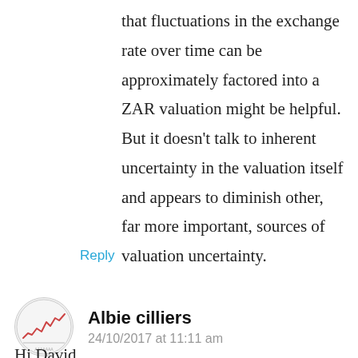that fluctuations in the exchange rate over time can be approximately factored into a ZAR valuation might be helpful. But it doesn't talk to inherent uncertainty in the valuation itself and appears to diminish other, far more important, sources of valuation uncertainty.
Reply
[Figure (illustration): Round avatar image with a stock chart line drawing on light background]
Albie cilliers
24/10/2017 at 11:11 am
Hi David